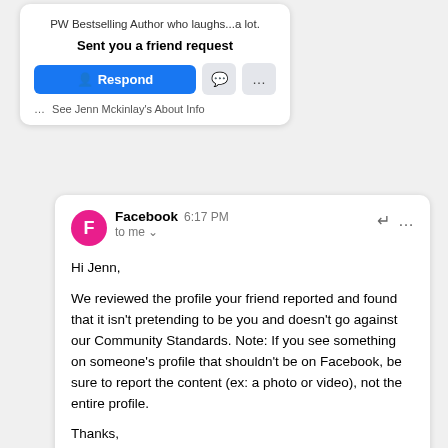PW Bestselling Author who laughs...a lot.
Sent you a friend request
[Figure (screenshot): Facebook friend request notification card with Respond button, message icon, more options icon, and 'See Jenn Mckinlay's About Info' link]
[Figure (screenshot): Facebook email notification showing message: Hi Jenn, We reviewed the profile your friend reported and found that it isn't pretending to be you and doesn't go against our Community Standards. Note: If you see something on someone's profile that shouldn't be on Facebook, be sure to report the content (ex: a photo or video), not the entire profile. Thanks, The Facebook Team]
Hi Jenn,

We reviewed the profile your friend reported and found that it isn't pretending to be you and doesn't go against our Community Standards. Note: If you see something on someone's profile that shouldn't be on Facebook, be sure to report the content (ex: a photo or video), not the entire profile.

Thanks,
The Facebook Team